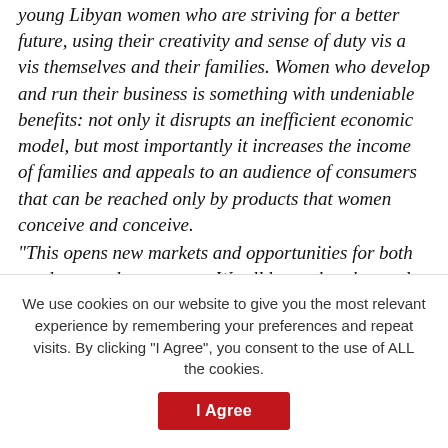young Libyan women who are striving for a better future, using their creativity and sense of duty vis a vis themselves and their families. Women who develop and run their business is something with undeniable benefits: not only it disrupts an inefficient economic model, but most importantly it increases the income of families and appeals to an audience of consumers that can be reached only by products that women conceive and conceive.
"This opens new markets and opportunities for both produces and consumers. We all know that the road ahead is full of obstacles, especially given the difficult period Libya is going through, but we, as
We use cookies on our website to give you the most relevant experience by remembering your preferences and repeat visits. By clicking "I Agree", you consent to the use of ALL the cookies.